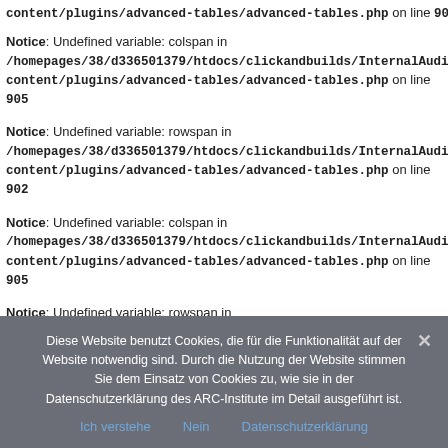content/plugins/advanced-tables/advanced-tables.php on line 902
Notice: Undefined variable: colspan in /homepages/38/d336501379/htdocs/clickandbuilds/InternalAuditStrat... content/plugins/advanced-tables/advanced-tables.php on line 905
Notice: Undefined variable: rowspan in /homepages/38/d336501379/htdocs/clickandbuilds/InternalAuditStrat... content/plugins/advanced-tables/advanced-tables.php on line 902
Notice: Undefined variable: colspan in /homepages/38/d336501379/htdocs/clickandbuilds/InternalAuditStrat... content/plugins/advanced-tables/advanced-tables.php on line 905
Notice: Undefined variable: rowspan in
Diese Website benutzt Cookies, die für die Funktionalität auf der Website notwendig sind. Durch die Nutzung der Website stimmen Sie dem Einsatz von Cookies zu, wie sie in der Datenschutzerklärung des ARC-Institute im Detail ausgeführt ist. Ich verstehe  Nein  Datenschutzerklärung